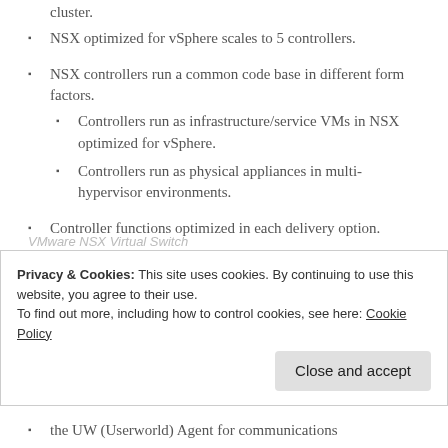cluster.
NSX optimized for vSphere scales to 5 controllers.
NSX controllers run a common code base in different form factors.
Controllers run as infrastructure/service VMs in NSX optimized for vSphere.
Controllers run as physical appliances in multi-hypervisor environments.
Controller functions optimized in each delivery option.
Privacy & Cookies: This site uses cookies. By continuing to use this website, you agree to their use.
To find out more, including how to control cookies, see here: Cookie Policy
the UW (Userworld) Agent for communications